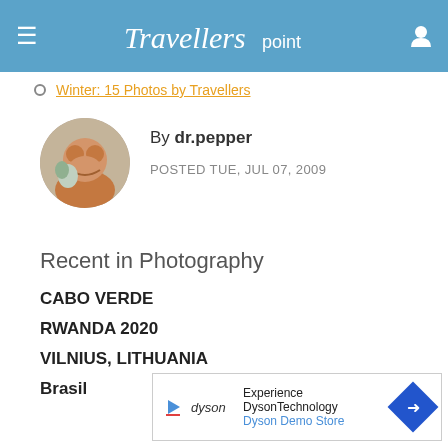Travellerspoint
Winter: 15 Photos by Travellers
By dr.pepper
POSTED TUE, JUL 07, 2009
Recent in Photography
CABO VERDE
RWANDA 2020
VILNIUS, LITHUANIA
Brasil
[Figure (screenshot): Advertisement banner for Dyson Demo Store with Dyson logo, play button icon, text 'Experience DysonTechnology / Dyson Demo Store', and blue diamond arrow icon]